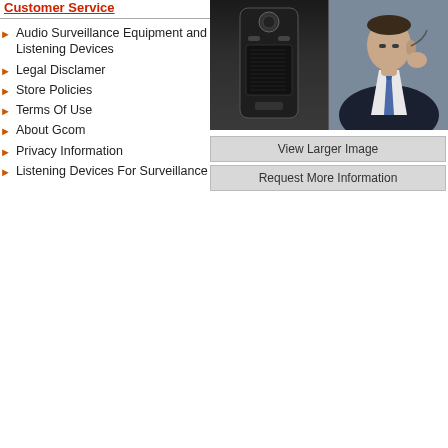Customer Service
Audio Surveillance Equipment and Listening Devices
Legal Disclamer
Store Policies
Terms Of Use
About Gcom
Privacy Information
Listening Devices For Surveillance
[Figure (photo): Black handheld audio surveillance device / voice recorder]
[Figure (photo): Man in suit with blue tie using an earpiece listening device]
View Larger Image
Request More Information